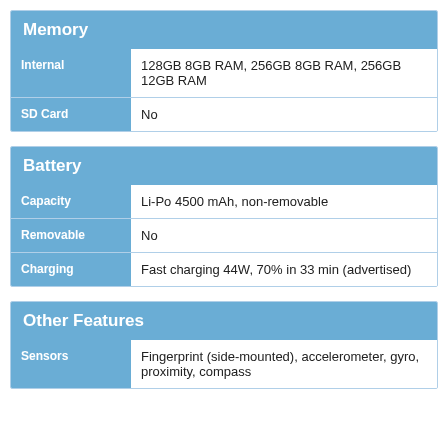| Memory |  |
| --- | --- |
| Internal | 128GB 8GB RAM, 256GB 8GB RAM, 256GB 12GB RAM |
| SD Card | No |
| Battery |  |
| --- | --- |
| Capacity | Li-Po 4500 mAh, non-removable |
| Removable | No |
| Charging | Fast charging 44W, 70% in 33 min (advertised) |
| Other Features |  |
| --- | --- |
| Sensors | Fingerprint (side-mounted), accelerometer, gyro, proximity, compass |